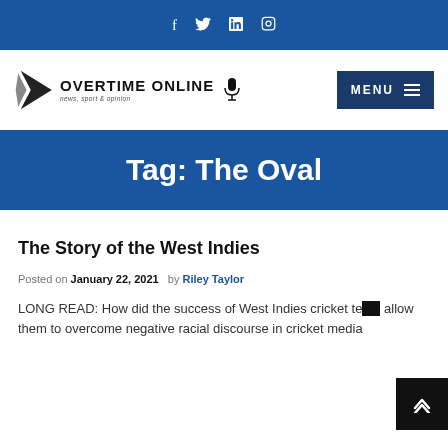f  twitter  in  instagram (social icons)
[Figure (logo): Overtime Online logo with arrow graphic, microphone icon, and tagline 'news, sport & opinion']
MENU
Tag: The Oval
The Story of the West Indies
Posted on January 22, 2021 by Riley Taylor
LONG READ: How did the success of West Indies cricket te allow them to overcome negative racial discourse in cricket media